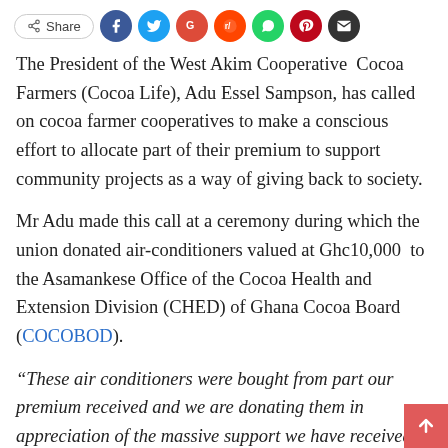[Figure (other): Social share bar with Share button and colored circular icons for Facebook, Twitter, Google, Reddit, WhatsApp, Pinterest, and Email]
The President of the West Akim Cooperative Cocoa Farmers (Cocoa Life), Adu Essel Sampson, has called on cocoa farmer cooperatives to make a conscious effort to allocate part of their premium to support community projects as a way of giving back to society.
Mr Adu made this call at a ceremony during which the union donated air-conditioners valued at Ghc10,000 to the Asamankese Office of the Cocoa Health and Extension Division (CHED) of Ghana Cocoa Board (COCOBOD).
“These air conditioners were bought from part our premium received and we are donating them in appreciation of the massive support we have received from CHED,” he indicated.